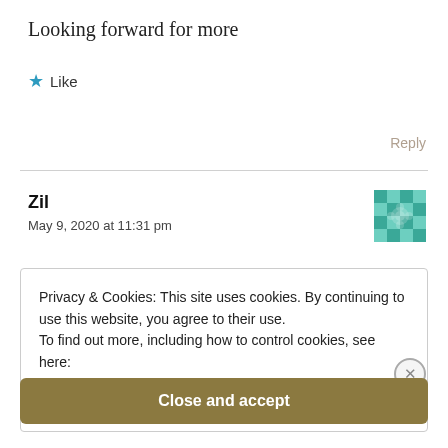Looking forward for more
★ Like
Reply
Zil
May 9, 2020 at 11:31 pm
[Figure (illustration): Tiled pattern avatar icon in teal/green color]
Privacy & Cookies: This site uses cookies. By continuing to use this website, you agree to their use.
To find out more, including how to control cookies, see here:
Cookie Policy
Close and accept